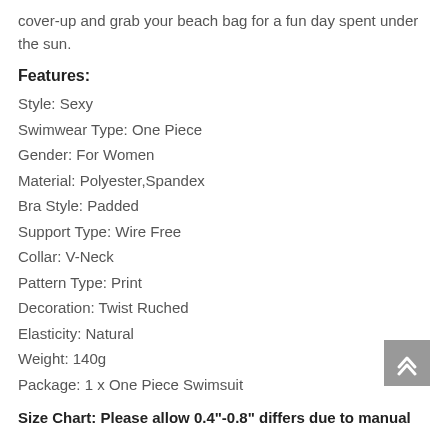cover-up and grab your beach bag for a fun day spent under the sun.
Features:
Style: Sexy
Swimwear Type: One Piece
Gender: For Women
Material: Polyester,Spandex
Bra Style: Padded
Support Type: Wire Free
Collar: V-Neck
Pattern Type: Print
Decoration: Twist Ruched
Elasticity: Natural
Weight: 140g
Package: 1 x One Piece Swimsuit
Size Chart: Please allow 0.4"-0.8" differs due to manual